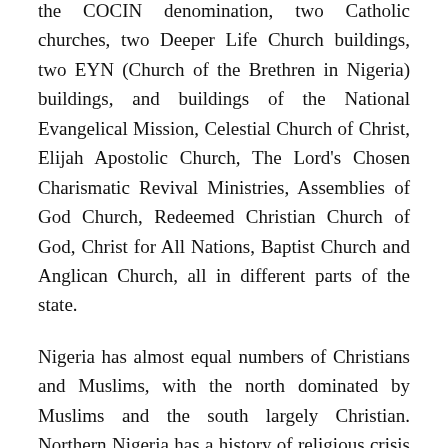the COCIN denomination, two Catholic churches, two Deeper Life Church buildings, two EYN (Church of the Brethren in Nigeria) buildings, and buildings of the National Evangelical Mission, Celestial Church of Christ, Elijah Apostolic Church, The Lord's Chosen Charismatic Revival Ministries, Assemblies of God Church, Redeemed Christian Church of God, Christ for All Nations, Baptist Church and Anglican Church, all in different parts of the state.
Nigeria has almost equal numbers of Christians and Muslims, with the north dominated by Muslims and the south largely Christian. Northern Nigeria has a history of religious crisis with heavy casualties among Christians.
A Maiduguri, Borno-based journalist, Abiodun Joseph, said members of the sect kidnapped his two sons after he and